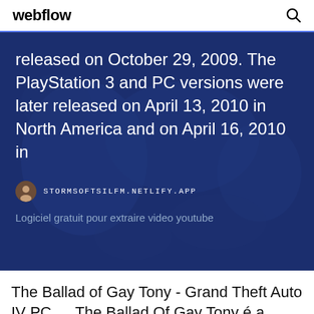webflow
released on October 29, 2009. The PlayStation 3 and PC versions were later released on April 13, 2010 in North America and on April 16, 2010 in
STORMSOFTSILFM.NETLIFY.APP
Logiciel gratuit pour extraire video youtube
The Ballad of Gay Tony - Grand Theft Auto IV PC ... The Ballad Of Gay Tony é a